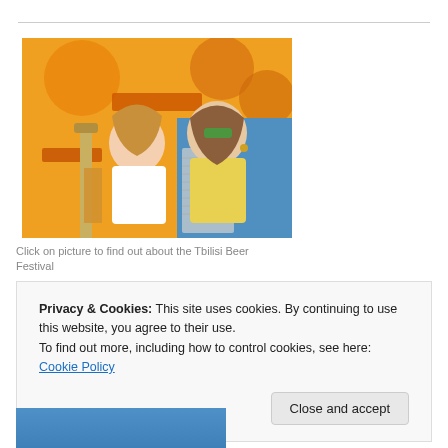[Figure (photo): Two women in yellow and white outfits standing at a beer festival booth with beer taps and cups, behind a branded orange backdrop with Georgian script.]
Click on picture to find out about the Tbilisi Beer Festival
Privacy & Cookies: This site uses cookies. By continuing to use this website, you agree to their use.
To find out more, including how to control cookies, see here: Cookie Policy
Close and accept